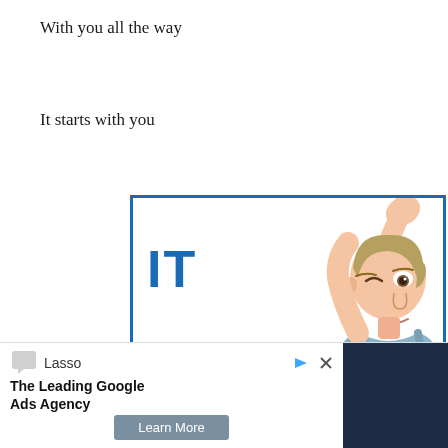With you all the way
It starts with you
[Figure (illustration): Advertisement image with bold blue text reading 'IT STARTS' and an illustrated woman raising her arm, inside a blue-bordered rectangle]
[Figure (infographic): Advertisement banner for 'The Leading Google Ads Agency' by Lasso, with a Learn More button and dark navy block on the right, plus play and close icons in top-right corner]